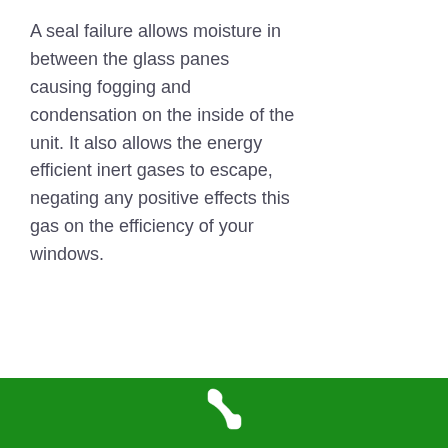A seal failure allows moisture in between the glass panes causing fogging and condensation on the inside of the unit. It also allows the energy efficient inert gases to escape, negating any positive effects this gas on the efficiency of your windows.
Seal Failure in a Vinyl Window:
[phone icon]